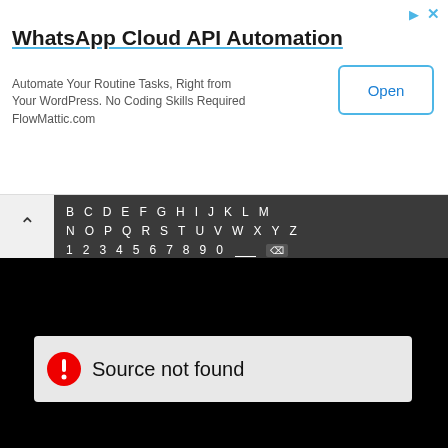[Figure (screenshot): Advertisement banner for WhatsApp Cloud API Automation by FlowMattic.com with an 'Open' button, and a close/navigate icon in the top right.]
WhatsApp Cloud API Automation
Automate Your Routine Tasks, Right from Your WordPress. No Coding Skills Required FlowMattic.com
[Figure (screenshot): Dark keyboard/search interface showing alphabet rows B-M, N-Z, number row 1-0 with space and backspace, a search field showing 'Do' and a suggestion chip 'Downloader']
[Figure (screenshot): Black video player area with a gray error message box showing a red circle exclamation icon and text 'Source not found']